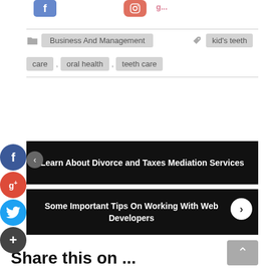[Figure (screenshot): Facebook and Instagram social share icons at top of page]
Business And Management
kid's teeth care , oral health , teeth care
Learn About Divorce and Taxes Mediation Services
Some Important Tips On Working With Web Developers
Share this on ...